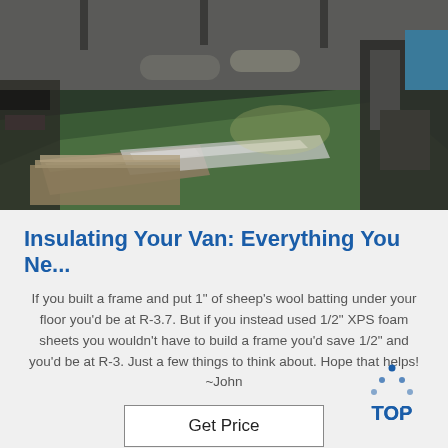[Figure (photo): Interior of an industrial workshop or factory floor with green flooring, machinery on right, rolls of material, and various items on the floor.]
Insulating Your Van: Everything You Ne...
If you built a frame and put 1" of sheep's wool batting under your floor you'd be at R-3.7. But if you instead used 1/2" XPS foam sheets you wouldn't have to build a frame you'd save 1/2" and you'd be at R-3. Just a few things to think about. Hope that helps! ~John
[Figure (logo): TOP badge logo with blue dots arranged in a triangle above the text TOP in blue.]
Get Price